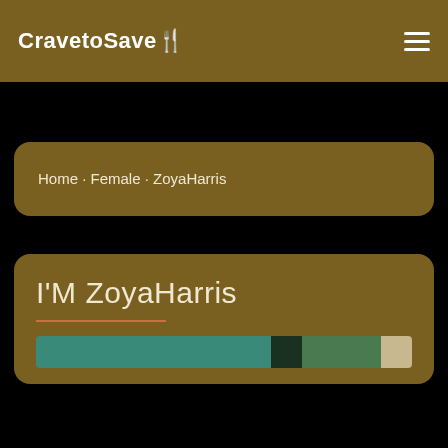CravetoSave🍴
Home · Female · ZoyaHarris
I'M ZoyaHarris
[Figure (photo): Partial view of a photo strip showing teal and green colored items at the bottom of the profile section]